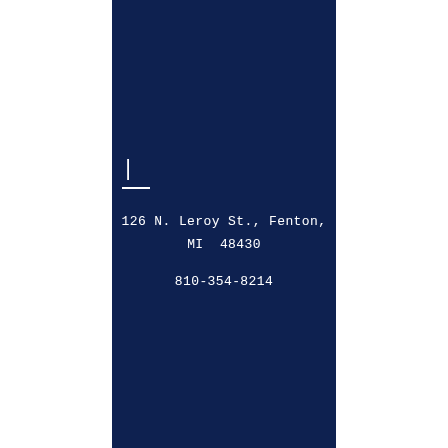| — 126 N. Leroy St., Fenton, MI  48430 810-354-8214